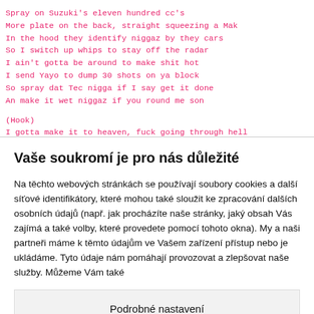Spray on Suzuki's eleven hundred cc's
More plate on the back, straight squeezing a Mak
In the hood they identify niggaz by they cars
So I switch up whips to stay off the radar
I ain't gotta be around to make shit hot
I send Yayo to dump 30 shots on ya block
So spray dat Tec nigga if I say get it done
An make it wet niggaz if you round me son
(Hook)
I gotta make it to heaven, fuck going through hell
Vaše soukromí je pro nás důležité
Na těchto webových stránkách se používají soubory cookies a další síťové identifikátory, které mohou také sloužit ke zpracování dalších osobních údajů (např. jak procházíte naše stránky, jaký obsah Vás zajímá a také volby, které provedete pomocí tohoto okna). My a naši partneři máme k těmto údajům ve Vašem zařízení přístup nebo je ukládáme. Tyto údaje nám pomáhají provozovat a zlepšovat naše služby. Můžeme Vám také
Podrobné nastavení
Rozumím a přijímám